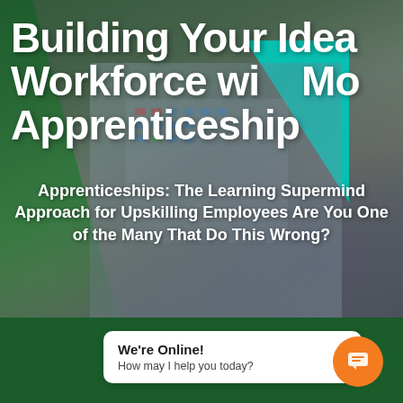[Figure (photo): Background photo of an older man in glasses and blue shirt operating an industrial control panel with buttons, in a manufacturing or industrial setting. Green triangle overlay on the left, teal triangle overlay on the upper right.]
Building Your Ideal Workforce with Modern Apprenticeships
Apprenticeships: The Learning Supermind Approach for Upskilling Employees Are You One of the Many That Do This Wrong?
We're Online!
How may I help you today?